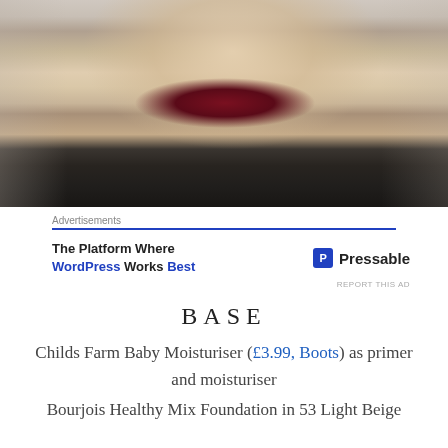[Figure (photo): Selfie/close-up photo of a person with blonde hair and dark maroon/burgundy lipstick, wearing a dark top, with a light background showing shelves or storage.]
Advertisements
The Platform Where WordPress Works Best   [P] Pressable
REPORT THIS AD
BASE
Childs Farm Baby Moisturiser (£3.99, Boots) as primer and moisturiser
Bourjois Healthy Mix Foundation in 53 Light Beige